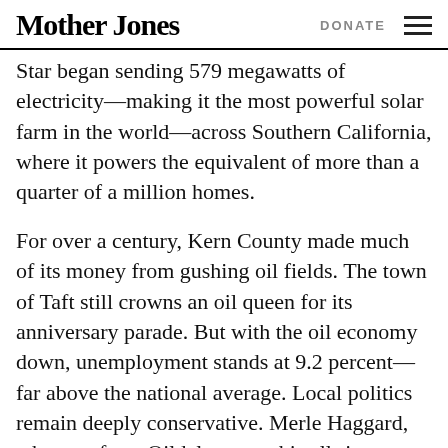Mother Jones   DONATE
Star began sending 579 megawatts of electricity—making it the most powerful solar farm in the world—across Southern California, where it powers the equivalent of more than a quarter of a million homes.
For over a century, Kern County made much of its money from gushing oil fields. The town of Taft still crowns an oil queen for its anniversary parade. But with the oil economy down, unemployment stands at 9.2 percent—far above the national average. Local politics remain deeply conservative. Merle Haggard, who was from Oildale, wrote his all-time biggest hit, “Okie From Muskogee,” about the place (“We don’t burn no draft cards down on Main